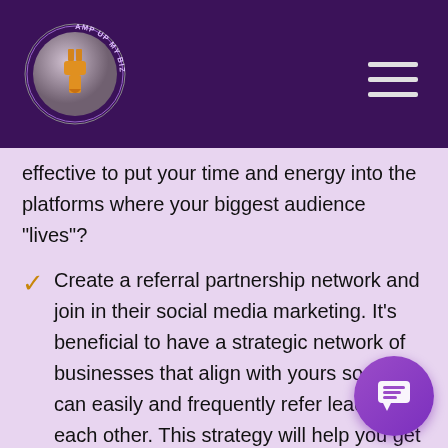Amp Up My Biz logo and navigation
effective to put your time and energy into the platforms where your biggest audience “lives”?
Create a referral partnership network and join in their social media marketing. It’s beneficial to have a strategic network of businesses that align with yours so you can easily and frequently refer leads to each other. This strategy will help you get marketing-qualified leads (MQLs).
Use targeted local and relevant hashtags. Hashtags are a great way to showcase your